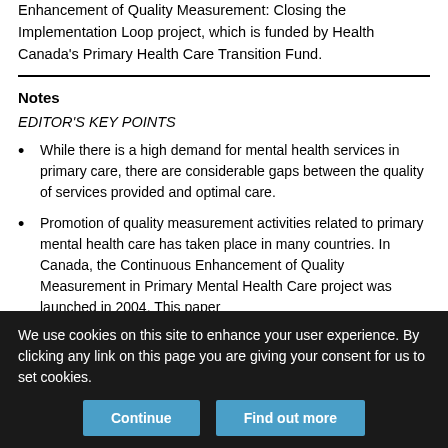Enhancement of Quality Measurement: Closing the Implementation Loop project, which is funded by Health Canada's Primary Health Care Transition Fund.
Notes
EDITOR'S KEY POINTS
While there is a high demand for mental health services in primary care, there are considerable gaps between the quality of services provided and optimal care.
Promotion of quality measurement activities related to primary mental health care has taken place in many countries. In Canada, the Continuous Enhancement of Quality Measurement in Primary Mental Health Care project was launched in 2004. This paper
We use cookies on this site to enhance your user experience. By clicking any link on this page you are giving your consent for us to set cookies.
Continue
Find out more